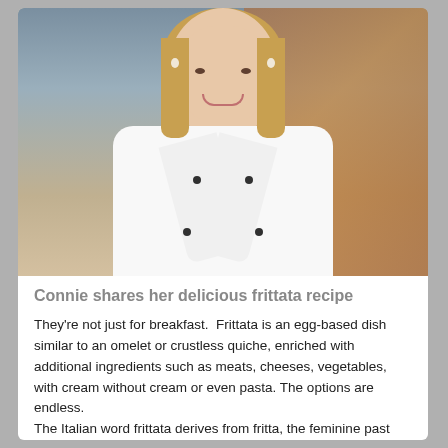[Figure (photo): A smiling blonde woman wearing a white chef's coat with dark buttons, pearl earrings, photographed against a warm brown/orange background.]
Connie shares her delicious frittata recipe
They're not just for breakfast. Frittata is an egg-based dish similar to an omelet or crustless quiche, enriched with additional ingredients such as meats, cheeses, vegetables, with cream without cream or even pasta. The options are endless.
The Italian word frittata derives from fritta, the feminine past